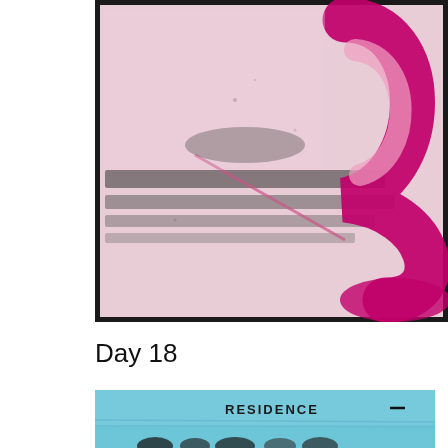[Figure (photo): An artistic/mixed-media image with a pink and white textured background featuring black horizontal stripes and a large magenta/crimson spiral or crescent shape on the right side, with a dark border frame.]
Day 18
[Figure (photo): A partial image showing a light blue background with the word 'RESIDENCE' printed in dark text, and silhouettes of people visible at the bottom.]